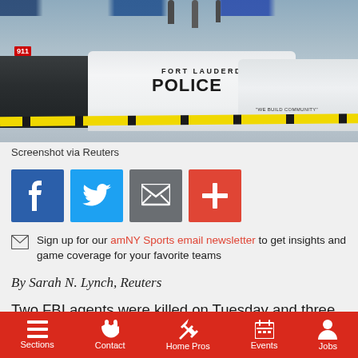[Figure (photo): Fort Lauderdale Police vehicles with yellow crime scene tape in foreground]
Screenshot via Reuters
[Figure (infographic): Social sharing buttons: Facebook, Twitter, Email, Plus]
Sign up for our amNY Sports email newsletter to get insights and game coverage for your favorite teams
By Sarah N. Lynch, Reuters
Two FBI agents were killed on Tuesday and three others were
Sections | Contact | Home Pros | Events | Jobs